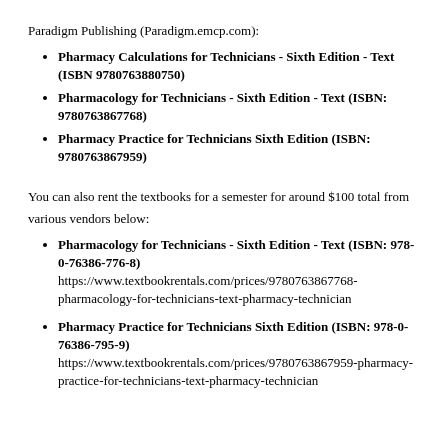Paradigm Publishing (Paradigm.emcp.com):
Pharmacy Calculations for Technicians - Sixth Edition - Text (ISBN 9780763880750)
Pharmacology for Technicians - Sixth Edition - Text (ISBN: 9780763867768)
Pharmacy Practice for Technicians Sixth Edition (ISBN: 9780763867959)
You can also rent the textbooks for a semester for around $100 total from various vendors below:
Pharmacology for Technicians - Sixth Edition - Text (ISBN: 978-0-76386-776-8) https://www.textbookrentals.com/prices/9780763867768-pharmacology-for-technicians-text-pharmacy-technician
Pharmacy Practice for Technicians Sixth Edition (ISBN: 978-0-76386-795-9) https://www.textbookrentals.com/prices/9780763867959-pharmacy-practice-for-technicians-text-pharmacy-technician